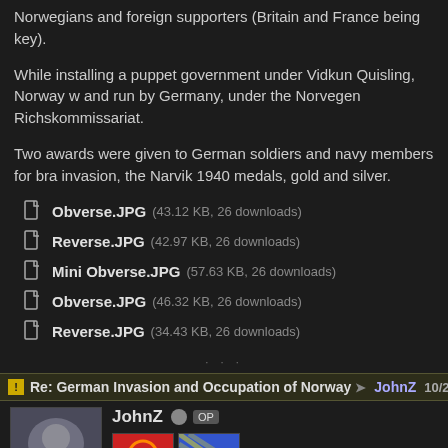Norwegians and foreign supporters (Britain and France being key).
While installing a puppet government under Vidkun Quisling, Norway w and run by Germany, under the Norvegen Richskommissariat.
Two awards were given to German soldiers and navy members for bra invasion, the Narvik 1940 medals, gold and silver.
Obverse.JPG (43.12 KB, 26 downloads)
Reverse.JPG (42.97 KB, 26 downloads)
Mini Obverse.JPG (57.63 KB, 26 downloads)
Obverse.JPG (46.32 KB, 26 downloads)
Reverse.JPG (34.43 KB, 26 downloads)
Re: German Invasion and Occupation of Norway → JohnZ 10/21/2021 07
JohnZ OP
The military administration had a badge.